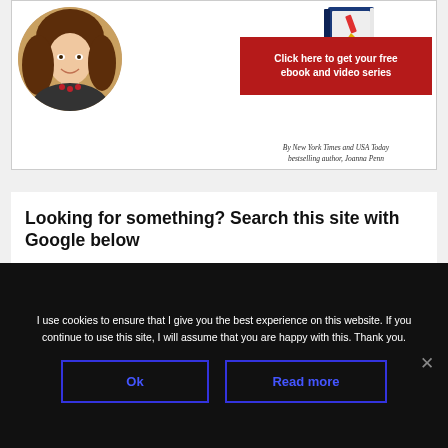[Figure (illustration): Promotional banner for Joanna Penn featuring a circular portrait photo of a woman with brown hair, a 3D book mockup with 'Joanna Penn' on it, a red call-to-action box reading 'Click here to get your free ebook and video series', and byline text 'By New York Times and USA Today bestselling author, Joanna Penn']
Looking for something? Search this site with Google below
I use cookies to ensure that I give you the best experience on this website. If you continue to use this site, I will assume that you are happy with this. Thank you.